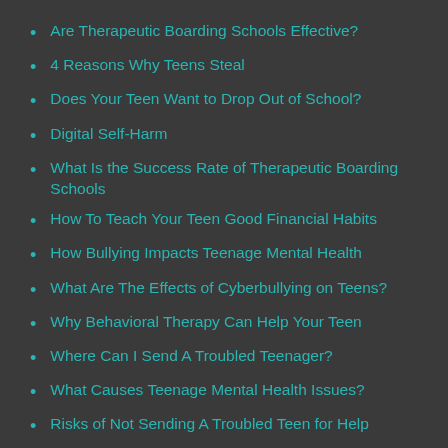Are Therapeutic Boarding Schools Effective?
4 Reasons Why Teens Steal
Does Your Teen Want to Drop Out of School?
Digital Self-Harm
What Is the Success Rate of Therapeutic Boarding Schools
How To Teach Your Teen Good Financial Habits
How Bullying Impacts Teenage Mental Health
What Are The Effects of Cyberbullying on Teens?
Why Behavioral Therapy Can Help Your Teen
Where Can I Send A Troubled Teenager?
What Causes Teenage Mental Health Issues?
Risks of Not Sending A Troubled Teen for Help